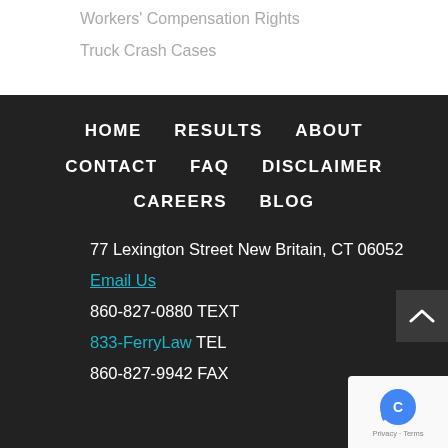Workers' Compensation Rights
Truck Crash Cases
HOME   RESULTS   ABOUT   CONTACT   FAQ   DISCLAIMER   CAREERS   BLOG
77 Lexington Street New Britain, CT 06052
Email Us
860-827-0880 TEXT
833-FerryLaw TEL
860-827-9942 FAX